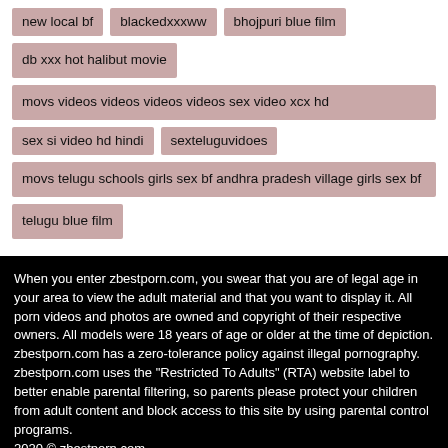new local bf
blackedxxxww
bhojpuri blue film
db xxx hot halibut movie
movs videos videos videos videos sex video xcx hd
sex si video hd hindi
sexteluguvidoes
movs telugu schools girls sex bf andhra pradesh village girls sex bf
telugu blue film
When you enter zbestporn.com, you swear that you are of legal age in your area to view the adult material and that you want to display it. All porn videos and photos are owned and copyright of their respective owners. All models were 18 years of age or older at the time of depiction. zbestporn.com has a zero-tolerance policy against illegal pornography. zbestporn.com uses the "Restricted To Adults" (RTA) website label to better enable parental filtering, so parents please protect your children from adult content and block access to this site by using parental control programs.
2020 © zbestporn.com.